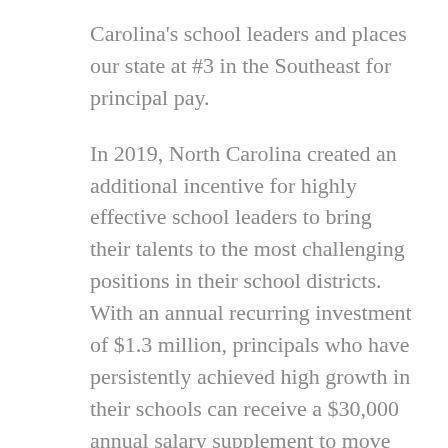Carolina's school leaders and places our state at #3 in the Southeast for principal pay.
In 2019, North Carolina created an additional incentive for highly effective school leaders to bring their talents to the most challenging positions in their school districts. With an annual recurring investment of $1.3 million, principals who have persistently achieved high growth in their schools can receive a $30,000 annual salary supplement to move to a low-performing school for up to three years (up to a $90,000 total supplement).